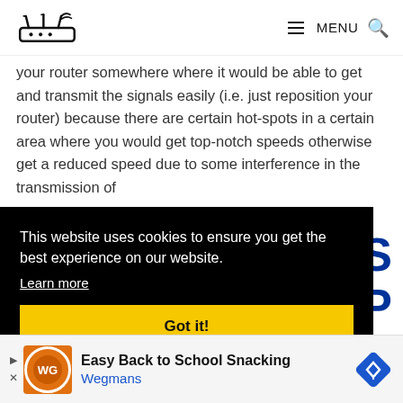Router website logo | MENU [search icon]
your router somewhere where it would be able to get and transmit the signals easily (i.e. just reposition your router) because there are certain hot-spots in a certain area where you would get top-notch speeds otherwise get a reduced speed due to some interference in the transmission of
This website uses cookies to ensure you get the best experience on our website. Learn more
Got it!
S
P
as their
[Figure (other): Advertisement banner: Easy Back to School Snacking - Wegmans, with orange circular logo and blue diamond navigation icon]